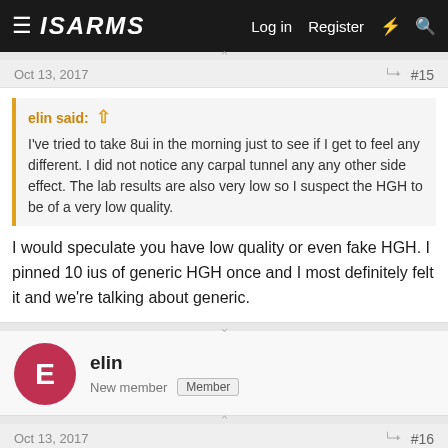ISARMS — Log in  Register
Oct 13, 2017  #15
elin said: ⊕  I've tried to take 8ui in the morning just to see if I get to feel any different. I did not notice any carpal tunnel any any other side effect. The lab results are also very low so I suspect the HGH to be of a very low quality.
I would speculate you have low quality or even fake HGH. I pinned 10 ius of generic HGH once and I most definitely felt it and we're talking about generic.
elin  New member  Member
Oct 13, 2017  #16
Hi Thanks for the suggestion. I was also thinking that doing cycles with HCG and PCT would be of some time. And I do it